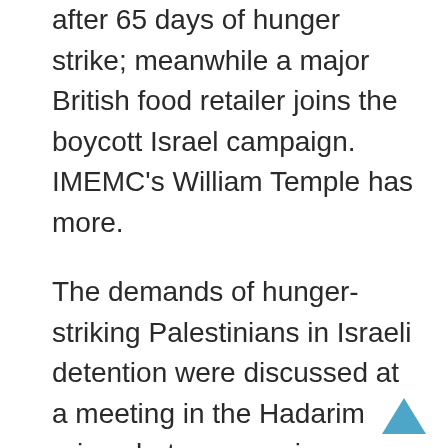after 65 days of hunger strike; meanwhile a major British food retailer joins the boycott Israel campaign. IMEMC's William Temple has more.
The demands of hunger-striking Palestinians in Israeli detention were discussed at a meeting in the Hadarim prison between senior detained political leaders and the head of the Israeli Administration, Aharon Franco, it has been revealed in a report issued by the Palestinian Ministry of Detainees. Franco called the meeting, and stated that the special committee tasked with discussing